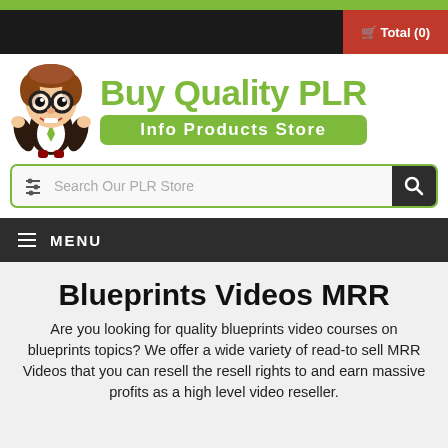[Figure (screenshot): Green top bar strip]
Total (0)
[Figure (logo): Buy Quality PLR Info Products Store logo with cartoon mascot character wearing glasses]
Search Our PLR Store
MENU
Blueprints Videos MRR
Are you looking for quality blueprints video courses on blueprints topics? We offer a wide variety of read-to sell MRR Videos that you can resell the resell rights to and earn massive profits as a high level video reseller.